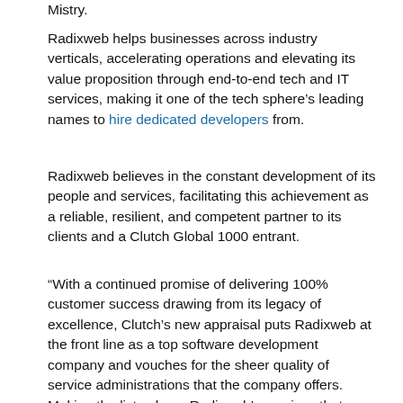Mistry.
Radixweb helps businesses across industry verticals, accelerating operations and elevating its value proposition through end-to-end tech and IT services, making it one of the tech sphere's leading names to hire dedicated developers from.
Radixweb believes in the constant development of its people and services, facilitating this achievement as a reliable, resilient, and competent partner to its clients and a Clutch Global 1000 entrant.
“With a continued promise of delivering 100% customer success drawing from its legacy of excellence, Clutch’s new appraisal puts Radixweb at the front line as a top software development company and vouches for the sheer quality of service administrations that the company offers. Making the list echoes Radixweb’s services that